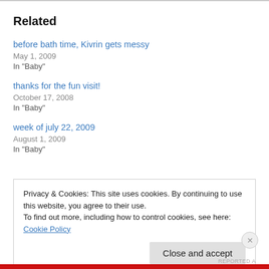Related
before bath time, Kivrin gets messy
May 1, 2009
In "Baby"
thanks for the fun visit!
October 17, 2008
In "Baby"
week of july 22, 2009
August 1, 2009
In "Baby"
Privacy & Cookies: This site uses cookies. By continuing to use this website, you agree to their use.
To find out more, including how to control cookies, see here: Cookie Policy
Close and accept